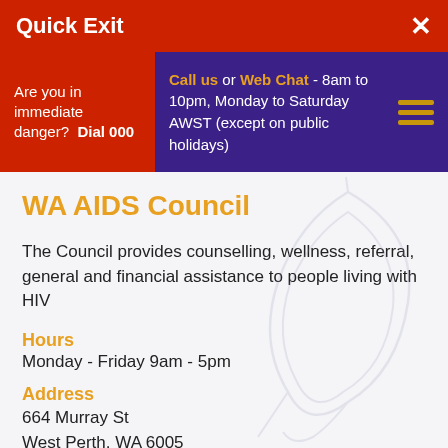Quick Exit   ×
Are you in immediate danger?   Dial 000
Call us or Web Chat - 8am to 10pm, Monday to Saturday AWST (except on public holidays)
WA AIDS Council
The Council provides counselling, wellness, referral, general and financial assistance to people living with HIV
Hours
Monday - Friday 9am - 5pm
Address
664 Murray St
West Perth, WA 6005
Phone
08 9482 0000